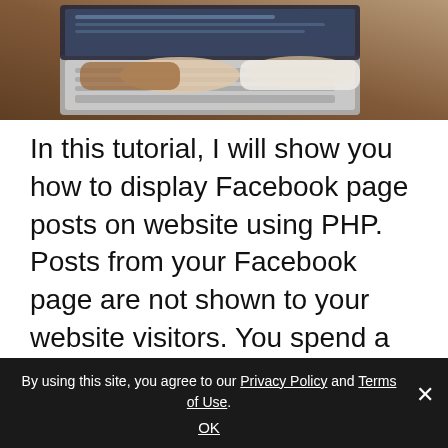[Figure (photo): Person typing on a laptop at a wooden desk, viewed from above/side. Partial view showing hands on keyboard and part of the screen.]
In this tutorial, I will show you how to display Facebook page posts on website using PHP. Posts from your Facebook page are not shown to your website visitors. You spend a lot of time creating, editing, and managing your posts. But your fans, audience, and customers from your website still do not see your… Continue reading
By using this site, you agree to our Privacy Policy and Terms of Use.
OK